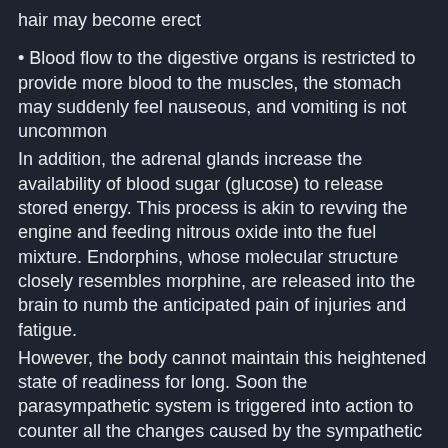hair may become erect
Blood flow to the digestive organs is restricted to provide more blood to the muscles, the stomach may suddenly feel nauseous, and vomiting is not uncommon
In addition, the adrenal glands increase the availability of blood sugar (glucose) to release stored energy. This process is akin to revving the engine and feeding nitrous oxide into the fuel mixture. Endorphins, whose molecular structure closely resembles morphine, are released into the brain to numb the anticipated pain of injuries and fatigue.
However, the body cannot maintain this heightened state of readiness for long. Soon the parasympathetic system is triggered into action to counter all the changes caused by the sympathetic system: Heart rate is reduced, breathing becomes shallow, gasping, with frequent sighing, and the mouth becomes dry. Blood is drawn in towards the inner body restricting the flow to the brain, which may cause dizziness, spots in peripheral vision, and fainting. The face becomes pale and waxy and body temperature drops. The digestive system may suddenly kick in resulting a bowel movement or release of the bladder.